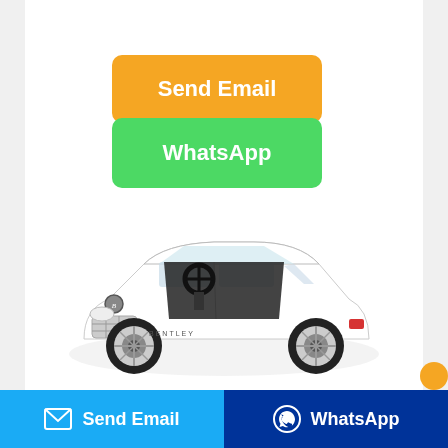[Figure (screenshot): Orange 'Send Email' button with rounded corners and white bold text]
[Figure (screenshot): Green 'WhatsApp' button with rounded corners and white bold text]
[Figure (photo): White Bentley-branded children's ride-on push car toy with black seat, steering wheel, and chrome wheels on white background]
[Figure (screenshot): Blue 'Send Email' footer button with envelope icon on the left, and dark blue 'WhatsApp' footer button with WhatsApp logo on the right]